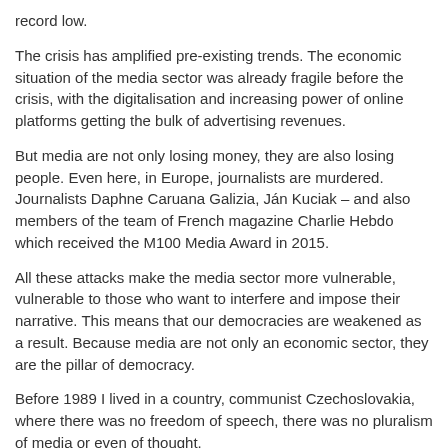record low.
The crisis has amplified pre-existing trends. The economic situation of the media sector was already fragile before the crisis, with the digitalisation and increasing power of online platforms getting the bulk of advertising revenues.
But media are not only losing money, they are also losing people. Even here, in Europe, journalists are murdered. Journalists Daphne Caruana Galizia, Ján Kuciak – and also members of the team of French magazine Charlie Hebdo which received the M100 Media Award in 2015.
All these attacks make the media sector more vulnerable, vulnerable to those who want to interfere and impose their narrative. This means that our democracies are weakened as a result. Because media are not only an economic sector, they are the pillar of democracy.
Before 1989 I lived in a country, communist Czechoslovakia, where there was no freedom of speech, there was no pluralism of media or even of thought.
This should belong to the past; it should never be part of our